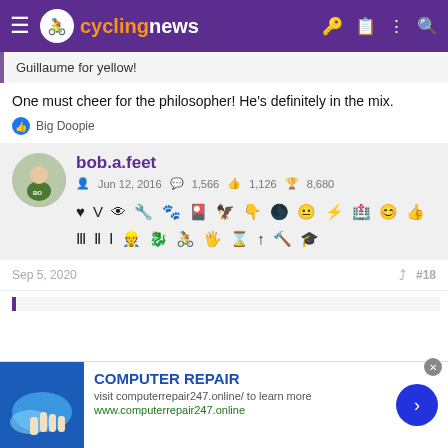cyclingnews
Guillaume for yellow!
One must cheer for the philosopher! He's definitely in the mix.
Big Doopie
bob.a.feet
Jun 12, 2016  1,566  1,126  8,680
Sep 5, 2020  #18
[Figure (screenshot): Advertisement for Computer Repair 247 with image, title COMPUTER REPAIR, description text, and URL]